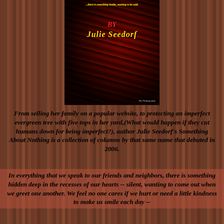[Figure (photo): Book cover for 'Something About Nothing' by Julie Seedorf, showing a dark garden of orange/red flowers with the author name in yellow stylized text and 'BY' in red italic text. Small text at top reads about something inside wanting to be said.]
From selling her family on a popular website, to protecting an imperfect evergreen tree with five tops in her yard,(What would happen if they cut humans down for being imperfect?), author Julie Seedorf's Something About Nothing is a collection of columns by that same name that debuted in 2006.
In everything that we speak to our friends and neighbors, there is something hidden deep in the recesses of our hearts -- silent, wanting to come out when we greet one another. We feel no one cares if we hurt or need a little kindness to make us smile each day -- but there are those words and thoughts that bring...